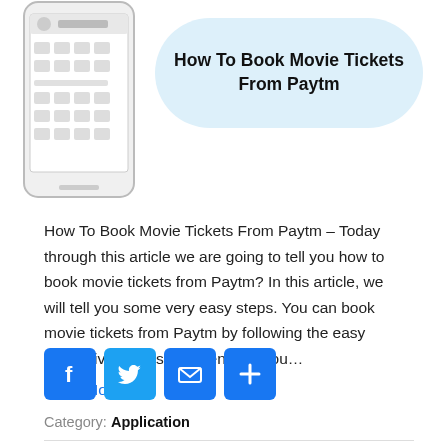[Figure (screenshot): Mobile phone screenshot showing Paytm app interface alongside a light blue speech bubble with bold text 'How To Book Movie Tickets From Paytm']
How To Book Movie Tickets From Paytm – Today through this article we are going to tell you how to book movie tickets from Paytm? In this article, we will tell you some very easy steps. You can book movie tickets from Paytm by following the easy steps given by us. So friends, if you…
Read More »
[Figure (infographic): Social share buttons: Facebook (blue F), Twitter (blue bird), Email (blue envelope), Share (blue plus)]
Category: Application